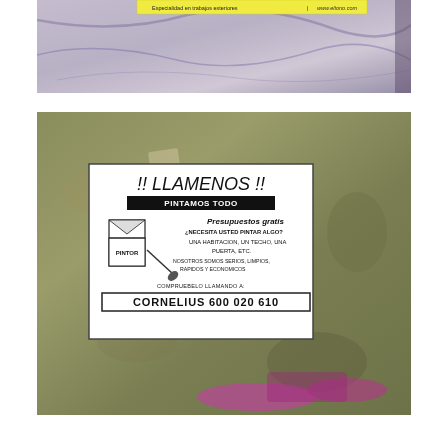[Figure (photo): Top photograph showing a yellow sticker on a marbled purple-grey wall surface. The sticker reads 'Especialidad en trabajos exteriores | [logo] www.eltono.com']
[Figure (photo): Bottom photograph showing a white flyer taped to a weathered olive-green/grey wall with tape, advertising painting services. Flyer reads: '!! LLAMENOS !! PINTAMOS TODO Presupuestos gratis ¿NECESITA USTED PINTAR ALGO? UNA HABITACION, UN TECHO, UNA PUERTA, ETC. NOSOTROS SOMOS SERIOS, LIMPIOS, RAPIDOS Y ECONOMICOS COMPRUEBELO LLAMANDO A: CORNELIUS 600 020 610']